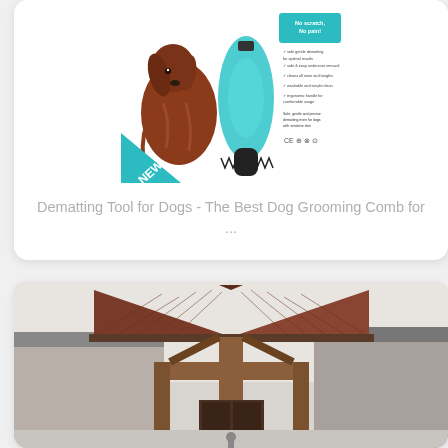[Figure (photo): Product image of a dog dematting grooming comb/tool. Shows a red/golden setter dog on the left, a teal oval-shaped grooming tool in the center, and marketing text on the right reading 'No scratch, No pain!' with bullet points and certifications.]
Dematting Tool for Dogs - The Best Dog Grooming Comb for ...
[Figure (photo): Photo of a building exterior showing a wooden lodge-style structure with a prominent peaked roof/gable and wooden cross-beam entrance feature. The roof tiles are dark reddish-brown.]